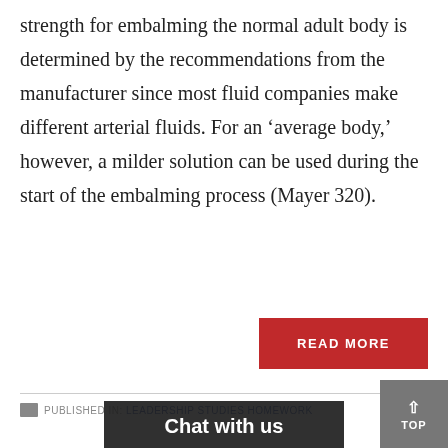strength for embalming the normal adult body is determined by the recommendations from the manufacturer since most fluid companies make different arterial fluids. For an ‘average body,’ however, a milder solution can be used during the start of the embalming process (Mayer 320).
READ MORE
PUBLISHED IN: LEADERSHIP STUDIES HOMEWORK
Chat with us